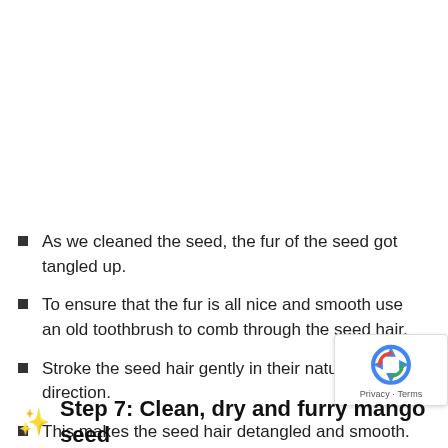As we cleaned the seed, the fur of the seed got tangled up.
To ensure that the fur is all nice and smooth use an old toothbrush to comb through the seed hair.
Stroke the seed hair gently in their natural direction.
This makes the seed hair detangled and smooth.
✨ Step 7: Clean, dry and furry mango seed